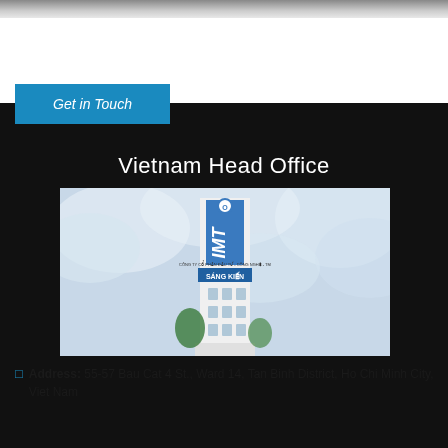[Figure (photo): Top strip showing edge of a photo (wooden texture or architectural detail)]
Get in Touch
[Figure (photo): Photograph of the IMT Vietnam Head Office building, a tall narrow white building with blue glass facade and SANG KIEN signage, set against a cloudy sky]
Vietnam Head Office
Address: 55-57 Bau Cat 4 St., Ward 14, Tan Binh District, Ho Chi Minh City, Viet Nam